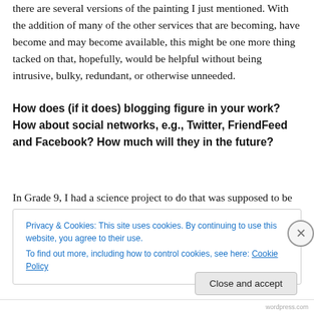there are several versions of the painting I just mentioned. With the addition of many of the other services that are becoming, have become and may become available, this might be one more thing tacked on that, hopefully, would be helpful without being intrusive, bulky, redundant, or otherwise unneeded.
How does (if it does) blogging figure in your work? How about social networks, e.g., Twitter, FriendFeed and Facebook? How much will they in the future?
In Grade 9, I had a science project to do that was supposed to be about anything that had to do with the
Privacy & Cookies: This site uses cookies. By continuing to use this website, you agree to their use.
To find out more, including how to control cookies, see here: Cookie Policy